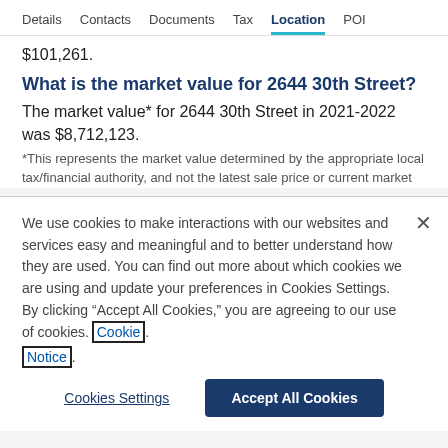Details   Contacts   Documents   Tax   Location   POI
$101,261.
What is the market value for 2644 30th Street?
The market value* for 2644 30th Street in 2021-2022 was $8,712,123.
*This represents the market value determined by the appropriate local tax/financial authority, and not the latest sale price or current market
We use cookies to make interactions with our websites and services easy and meaningful and to better understand how they are used. You can find out more about which cookies we are using and update your preferences in Cookies Settings. By clicking “Accept All Cookies,” you are agreeing to our use of cookies. Cookie Notice.
Cookies Settings
Accept All Cookies